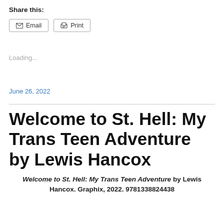Share this:
Email
Print
Loading...
June 26, 2022
Welcome to St. Hell: My Trans Teen Adventure by Lewis Hancox
Welcome to St. Hell: My Trans Teen Adventure by Lewis Hancox. Graphix, 2022. 9781338824438